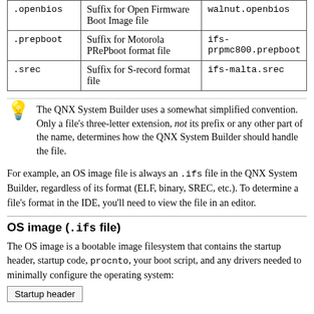| Extension | Description | Example |
| --- | --- | --- |
| .openbios | Suffix for Open Firmware Boot Image file | walnut.openbios |
| .prepboot | Suffix for Motorola PRePboot format file | ifs-prpmc800.prepboot |
| .srec | Suffix for S-record format file | ifs-malta.srec |
The QNX System Builder uses a somewhat simplified convention. Only a file's three-letter extension, not its prefix or any other part of the name, determines how the QNX System Builder should handle the file.
For example, an OS image file is always an .ifs file in the QNX System Builder, regardless of its format (ELF, binary, SREC, etc.). To determine a file's format in the IDE, you'll need to view the file in an editor.
OS image (.ifs file)
The OS image is a bootable image filesystem that contains the startup header, startup code, procnto, your boot script, and any drivers needed to minimally configure the operating system:
Startup header